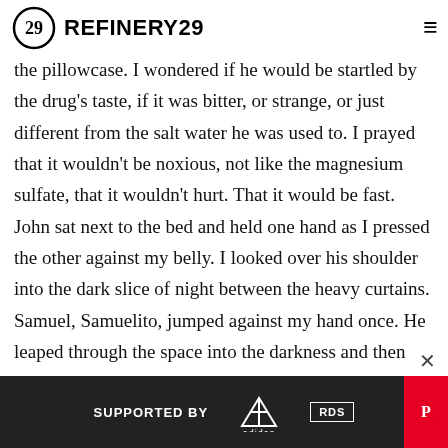REFINERY29
the pillowcase. I wondered if he would be startled by the drug's taste, if it was bitter, or strange, or just different from the salt water he was used to. I prayed that it wouldn't be noxious, not like the magnesium sulfate, that it wouldn't hurt. That it would be fast. John sat next to the bed and held one hand as I pressed the other against my belly. I looked over his shoulder into the dark slice of night between the heavy curtains. Samuel, Samuelito, jumped against my hand once. He leaped through the space into the darkness and then was gone.
[Figure (photo): Pink background image with abstract shapes, partially visible advertisement area with a person visible on the right side]
[Figure (infographic): Advertisement banner reading SUPPORTED BY with Adidas and RDS logos]